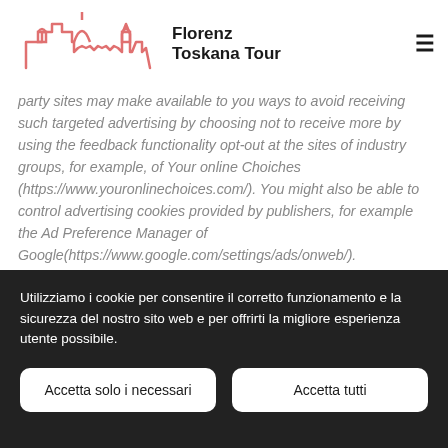Florenz Toskana Tour
party sites may make available to you ways to avoid receiving such targeted advertising by choosing not to receive more by using the feedback functionality opt-out at the sites of industry groups, for example, of Your online Choiches (https://www.youronlinechoices.com/). You might also be able to control advertising cookies provided by publishers, for example the Ad Preference Manager of Google(https://www.google.com/settings/ads/onweb/).
Utilizziamo i cookie per consentire il corretto funzionamento e la sicurezza del nostro sito web e per offrirti la migliore esperienza utente possibile.
Accetta solo i necessari
Accetta tutti